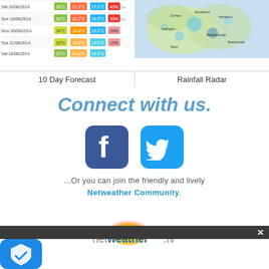[Figure (screenshot): 10 Day Forecast table with colored temperature cells]
[Figure (map): Rainfall Radar map showing UK region with color overlays]
10 Day Forecast
Rainfall Radar
Connect with us.
[Figure (logo): Facebook icon - blue rounded square with white f]
[Figure (logo): Twitter icon - blue rounded square with white bird]
...Or you can join the friendly and lively Netweather Community.
[Figure (logo): netweather.tv logo with sunrise graphic]